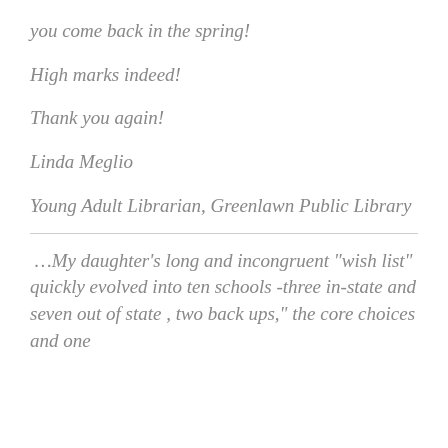you come back in the spring!
High marks indeed!
Thank you again!
Linda Meglio
Young Adult Librarian, Greenlawn Public Library
…My daughter's long and incongruent "wish list" quickly evolved into ten schools -three in-state and seven out of state , two back ups," the core choices and one